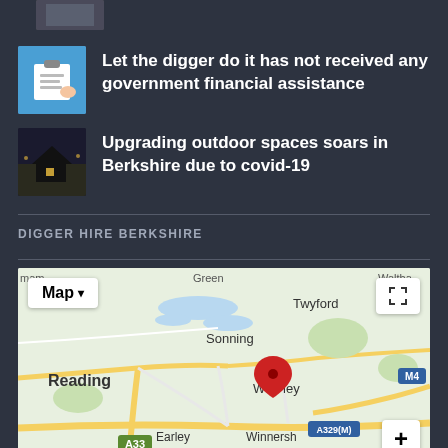[Figure (photo): Partially visible thumbnail image at top]
Let the digger do it has not received any government financial assistance
Upgrading outdoor spaces soars in Berkshire due to covid-19
DIGGER HIRE BERKSHIRE
[Figure (map): Google Map showing Reading, Woodley, Sonning, Twyford, Earley, Winnersh, Shinfield, Wokingham area in Berkshire with a red location pin near Woodley. Road labels include A33, M4, A329(M).]